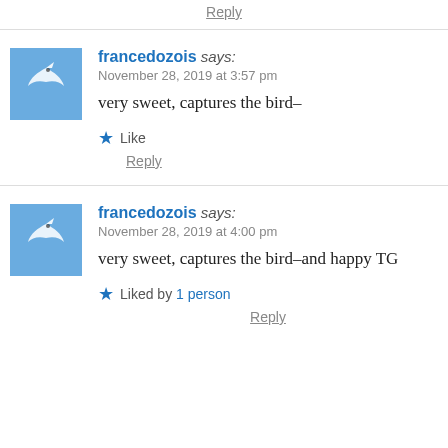Reply
francedozois says:
November 28, 2019 at 3:57 pm

very sweet, captures the bird–

Like
Reply
francedozois says:
November 28, 2019 at 4:00 pm

very sweet, captures the bird–and happy TG

Liked by 1 person
Reply